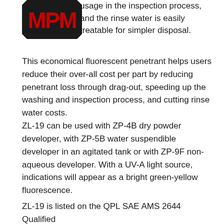[Figure (logo): MPM logo in bold red block letters]
usage in the inspection process, and the rinse water is easily treatable for simpler disposal.
This economical fluorescent penetrant helps users reduce their over-all cost per part by reducing penetrant loss through drag-out, speeding up the washing and inspection process, and cutting rinse water costs.
ZL-19 can be used with ZP-4B dry powder developer, with ZP-5B water suspendible developer in an agitated tank or with ZP-9F non-aqueous developer. With a UV-A light source, indications will appear as a bright green-yellow fluorescence.
ZL-19 is listed on the QPL SAE AMS 2644 Qualified